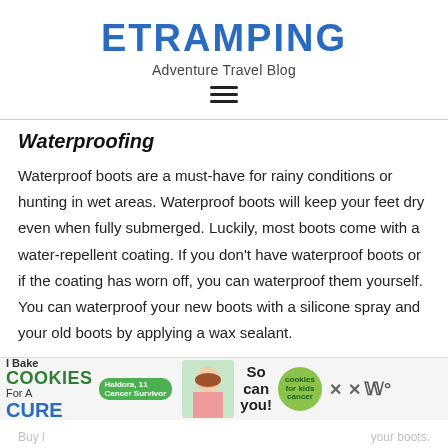ETRAMPING
Adventure Travel Blog
Waterproofing
Waterproof boots are a must-have for rainy conditions or hunting in wet areas. Waterproof boots will keep your feet dry even when fully submerged. Luckily, most boots come with a water-repellent coating. If you don’t have waterproof boots or if the coating has worn off, you can waterproof them yourself. You can waterproof your new boots with a silicone spray and your old boots by applying a wax sealant.
[Figure (other): Advertisement banner: I Bake COOKIES For A CURE - Haldora, 11 Cancer Survivor, with cookies and photo of a girl, So can you!, cookies for kids cancer logo, close buttons]